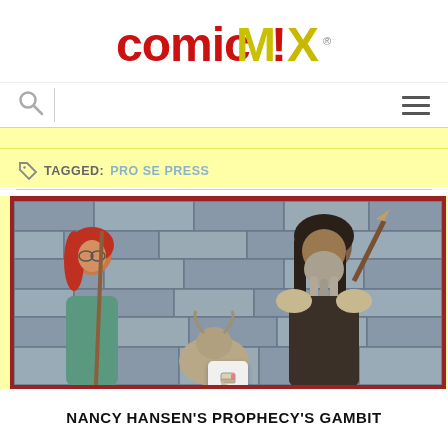[Figure (logo): ComicMix logo with red and gold stylized text on white background]
[Figure (screenshot): Navigation bar with search icon on left and hamburger menu icon on right]
TAGGED: PRO SE PRESS
[Figure (illustration): Fantasy book cover illustration showing two characters in front of a stone wall - a woman with red hair on the left and a large bearded man on the right holding a spear. Red border at top. Eraser/pencil badge overlay.]
NANCY HANSEN'S PROPHECY'S GAMBIT